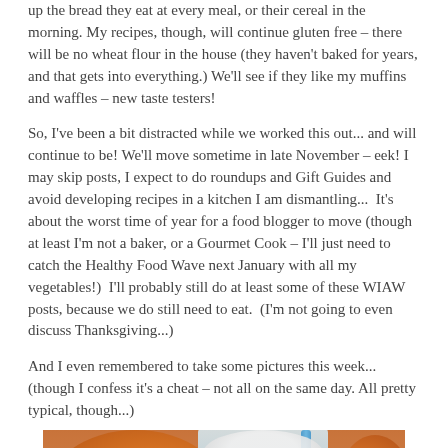up the bread they eat at every meal, or their cereal in the morning. My recipes, though, will continue gluten free – there will be no wheat flour in the house (they haven't baked for years, and that gets into everything.) We'll see if they like my muffins and waffles – new taste testers!
So, I've been a bit distracted while we worked this out... and will continue to be! We'll move sometime in late November – eek! I may skip posts, I expect to do roundups and Gift Guides and avoid developing recipes in a kitchen I am dismantling...  It's about the worst time of year for a food blogger to move (though at least I'm not a baker, or a Gourmet Cook – I'll just need to catch the Healthy Food Wave next January with all my vegetables!)  I'll probably still do at least some of these WIAW posts, because we do still need to eat.  (I'm not going to even discuss Thanksgiving...)
And I even remembered to take some pictures this week...  (though I confess it's a cheat – not all on the same day. All pretty typical, though...)
[Figure (photo): A glass of a light-colored smoothie or drink with a blue straw, surrounded by orange pumpkins on a wooden surface]